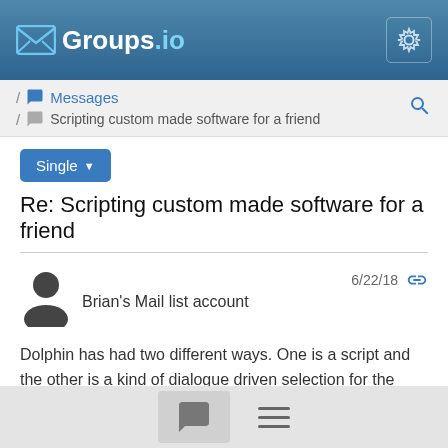Groups.io
Messages / Scripting custom made software for a friend
Single
Re: Scripting custom made software for a friend
Brian's Mail list account   6/22/18
Dolphin has had two different ways. One is a script and the other is a kind of dialogue driven selection for the software until it reads.
The main problems is that map and other forms of script seem to